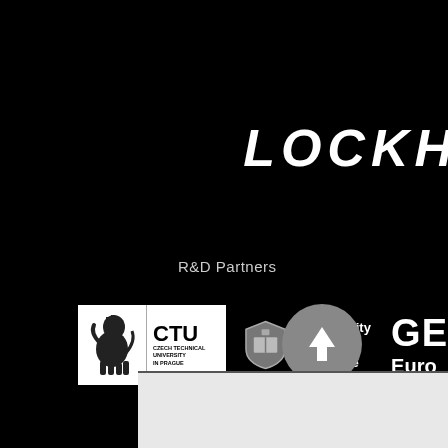LOCKH
R&D Partners
[Figure (logo): CTU Czech Technical University in Prague logo — white box with lion emblem and CTU text]
[Figure (logo): University of Defence logo — shield emblem with 'University of Defence' text]
[Figure (logo): GE Europe partial logo — white bold text 'GE' and 'Euro' partially visible]
[Figure (other): Grey circular navigation button with upward arrow]